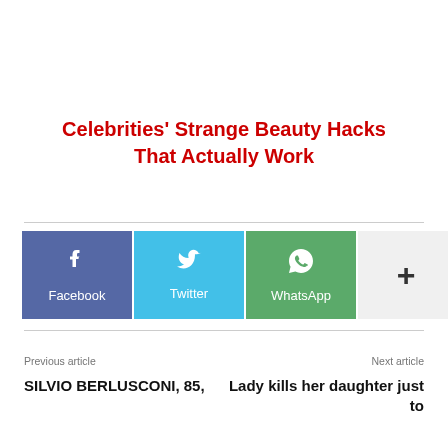Celebrities' Strange Beauty Hacks That Actually Work
[Figure (infographic): Social sharing buttons row: Facebook (blue-purple), Twitter (light blue), WhatsApp (green), and a More (+) button (light gray)]
Previous article
Next article
SILVIO BERLUSCONI, 85,
Lady kills her daughter just to